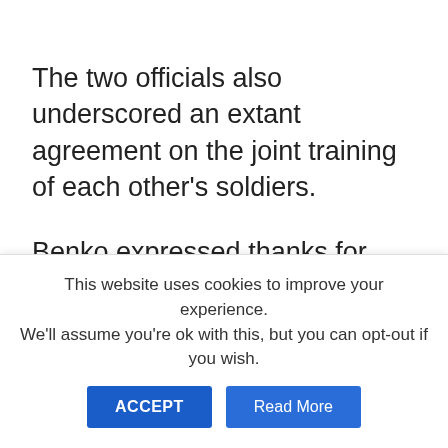The two officials also underscored an extant agreement on the joint training of each other's soldiers.
Benko expressed thanks for cooperation under which Hungarians can study in Georgia, and praised the joint meetings of experts from the two countries.
Burchuladze thanked the Hungarian government
This website uses cookies to improve your experience. We'll assume you're ok with this, but you can opt-out if you wish.